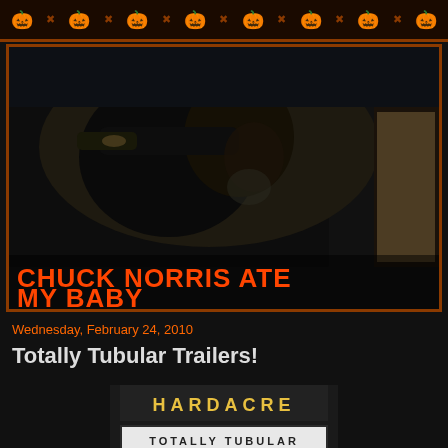Chuck Norris Ate My Baby - Halloween themed blog header with pumpkins
[Figure (photo): Header image of a dark silhouette of a man drinking from a bottle inside a car, with the blog title overlay 'CHUCK NORRIS ATE MY BABY' in orange metal-style font]
Wednesday, February 24, 2010
Totally Tubular Trailers!
[Figure (photo): Photo of a theater marquee sign reading 'HARDACRE' at top with 'TOTALLY TUBULAR' below in lit-up letters]